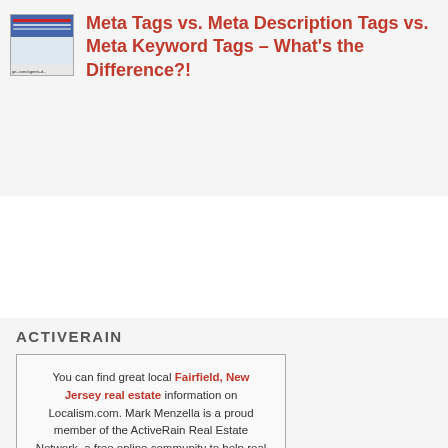[Figure (screenshot): Thumbnail screenshot of a webpage with red/blue header and URL text visible]
Meta Tags vs. Meta Description Tags vs. Meta Keyword Tags – What's the Difference?!
ACTIVERAIN
You can find great local Fairfield, New Jersey real estate information on Localism.com. Mark Menzella is a proud member of the ActiveRain Real Estate Network, a free online community to help real estate professionals grow their business.